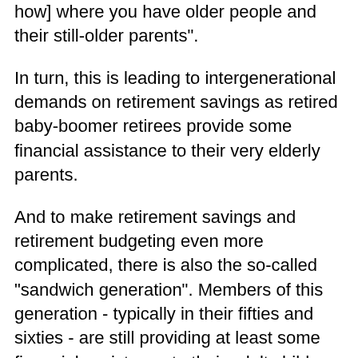how] where you have older people and their still-older parents".
In turn, this is leading to intergenerational demands on retirement savings as retired baby-boomer retirees provide some financial assistance to their very elderly parents.
And to make retirement savings and retirement budgeting even more complicated, there is also the so-called "sandwich generation". Members of this generation - typically in their fifties and sixties - are still providing at least some financial assistance to their adult children as well as their own elderly parents.
Indeed, some members of the sandwich generation are retired themselves.
Some descriptions also published